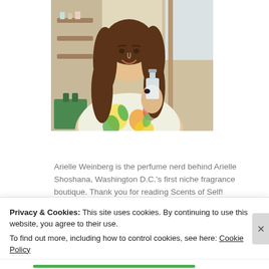[Figure (photo): A young woman with long brown wavy hair, smiling, holding a clear glass perfume bottle. She is wearing a floral/fruit-print top. Background shows a store interior with shelves and a green bag visible.]
Arielle Weinberg is the perfume nerd behind Arielle Shoshana, Washington D.C.'s first niche fragrance boutique. Thank you for reading Scents of Self!
Privacy & Cookies: This site uses cookies. By continuing to use this website, you agree to their use.
To find out more, including how to control cookies, see here: Cookie Policy
Close and accept